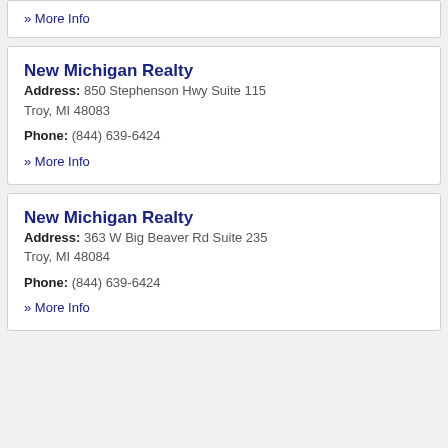» More Info
New Michigan Realty
Address: 850 Stephenson Hwy Suite 115 Troy, MI 48083
Phone: (844) 639-6424
» More Info
New Michigan Realty
Address: 363 W Big Beaver Rd Suite 235 Troy, MI 48084
Phone: (844) 639-6424
» More Info